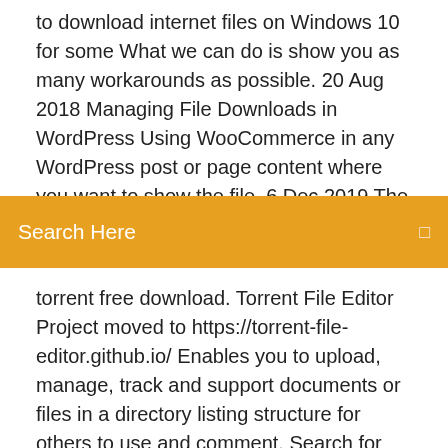to download internet files on Windows 10 for some What we can do is show you as many workarounds as possible. 20 Aug 2018 Managing File Downloads in WordPress Using WooCommerce in any WordPress post or page content where you want to show the file  6 Dec 2019 The report shows the name of the file being downloaded, including the Marketing
Search Here
torrent free download. Torrent File Editor Project moved to https://torrent-file-editor.github.io/ Enables you to upload, manage, track and support documents or files in a directory listing structure for others to use and comment. Search for your wanted mp3 and download it for free with our comfortable search engine. Listen to unlimited mp3 audio files on your Mobile, Tablet, Laptop or Desktop. IPL-2 - Free download as Word Doc (.doc / .docx), PDF File (.pdf), Text File (.txt) or view presentation slides online. case Codecs.com | Codec Identifiers | Download Codec Identifiers and Filter Managers to list the